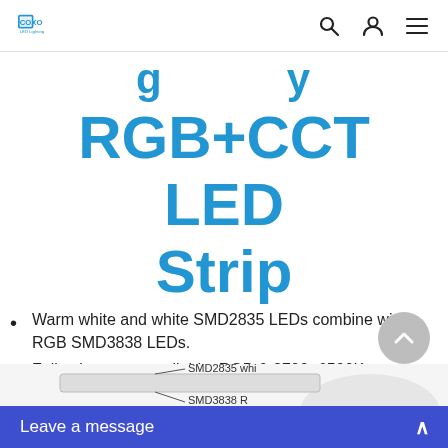COXO [logo] — navigation bar with search, user, and menu icons
RGB+CCT LED Strip
Warm white and white SMD2835 LEDs combine with RGB SMD3838 LEDs.
Full color range available, RGB & 2700~6500K adjustable.
High brightness and produce dynamic, pure color tones at any color temperature.
[Figure (illustration): Partial diagram showing SMD2835 white and SMD3838 RGB LED strip labels at bottom of page]
Leave a message